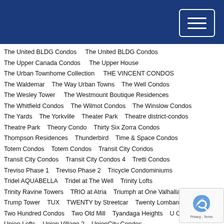The United BLDG Condos
The United BLDG Condos
The Upper Canada Condos
The Upper House
The Urban Townhome Collection
THE VINCENT CONDOS
The Waldemar
The Way Urban Towns
The Well Condos
The Wesley Tower
The Westmount Boutique Residences
The Whitfield Condos
The Wilmot Condos
The Winslow Condos
The Yards
The Yorkville
Theater Park
Theatre district-condos
Theatre Park
Theory Condo
Thirty Six Zorra Condos
Thompson Residences
Thunderbird
Time & Space Condos
Totem Condos
Totem Condos
Transit City Condos
Transit City Condos
Transit City Condos 4
Tretti Condos
Treviso Phase 1
Treviso Phase 2
Tricycle Condominiums
Tridel AQUABELLA
Tridel at The Well
Trinity Lofts
Trinity Ravine Towers
TRIO at Atria
Triumph at One Valhalla
Trump Tower
TUX
TWENTY by Streetcar
Twenty Lombard
Two Hundred Condos
Two Old Mill
Tyandaga Heights
U Condos
Union Lofts
Union Village 2
UnionCity Condos
United Kingsway Condos
Universal City East
Untitled Condos
Untitled Condos PH2
Uovo Condos
Uplands of Swan Lake
Upper Beach Townes
Upper West Side Condos
UpsideDownCondoPrices Phase 2
UV2 Condos
Val Homes on Valermo Dr.
Valera Condos 2
Valleymede Towers